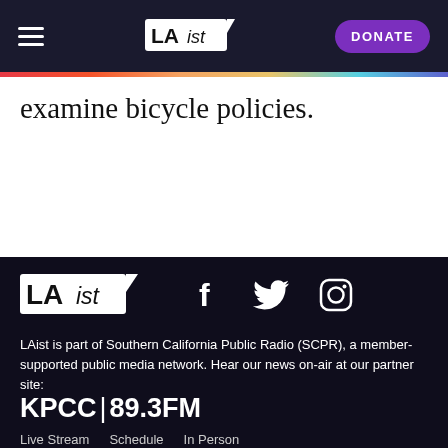LAist | DONATE
examine bicycle policies.
[Figure (logo): LAist logo in footer]
[Figure (infographic): Social media icons: Facebook, Twitter, Instagram]
LAist is part of Southern California Public Radio (SCPR), a member-supported public media network. Hear our news on-air at our partner site:
KPCC | 89.3FM
Live Stream   Schedule   In Person